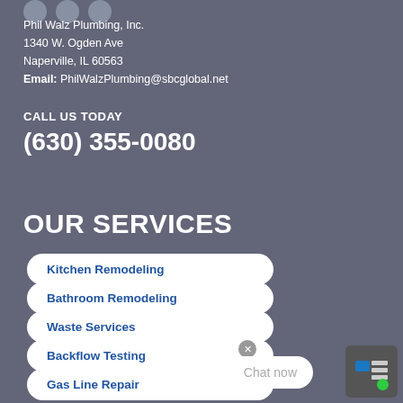Phil Walz Plumbing, Inc.
1340 W. Ogden Ave
Naperville, IL 60563
Email: PhilWalzPlumbing@sbcglobal.net
CALL US TODAY
(630) 355-0080
OUR SERVICES
Kitchen Remodeling
Bathroom Remodeling
Waste Services
Backflow Testing
Gas Line Repair